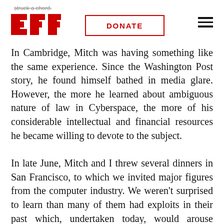struck a chord. EFF | DONATE | [menu]
In Cambridge, Mitch was having something like the same experience. Since the Washington Post story, he found himself bathed in media glare. However, the more he learned about ambiguous nature of law in Cyberspace, the more of his considerable intellectual and financial resources he became willing to devote to the subject.
In late June, Mitch and I threw several dinners in San Francisco, to which we invited major figures from the computer industry. We weren't surprised to learn than many of them had exploits in their past which, undertaken today, would arouse plenty of Secret Service interest. It appeared possible that one side-effect of current government practices might be the elimination of the next generation of